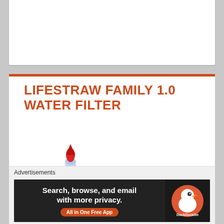LIFESTRAW FAMILY 1.0 WATER FILTER
[Figure (photo): LifeStraw Family 1.0 Water Filter product photo showing a blue water filtration device with a cylindrical white/blue filter tube, red squeeze bulb on top, and blue container body with handle]
Advertisements
[Figure (screenshot): DuckDuckGo advertisement banner: 'Search, browse, and email with more privacy. All in One Free App' with DuckDuckGo duck logo on dark background]